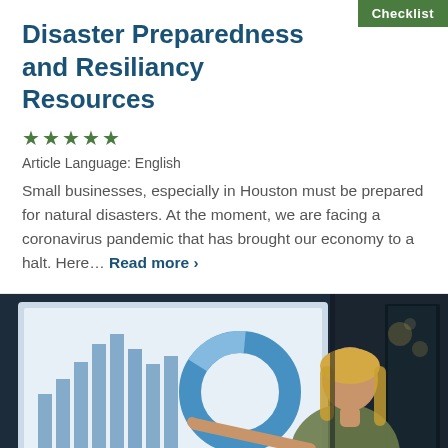Checklist
Disaster Preparedness and Resiliancy Resources
★★★★★
Article Language: English
Small businesses, especially in Houston must be prepared for natural disasters. At the moment, we are facing a coronavirus pandemic that has brought our economy to a halt. Here… Read more ›
[Figure (photo): A blonde woman pointing at a large display screen showing bar charts and a donut chart in a dark office/boardroom setting.]